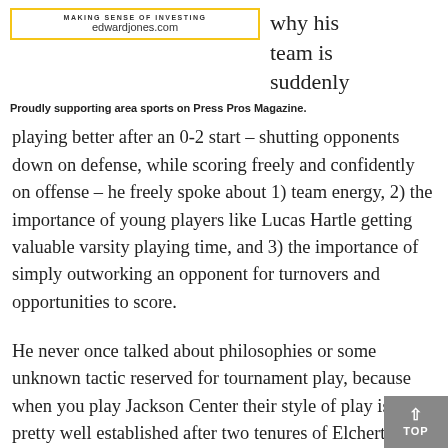[Figure (logo): Edward Jones logo box with 'MAKING SENSE OF INVESTING' and 'edwardjones.com']
why his team is suddenly
Proudly supporting area sports on Press Pros Magazine.
playing better after an 0-2 start – shutting opponents down on defense, while scoring freely and confidently on offense – he freely spoke about 1) team energy, 2) the importance of young players like Lucas Hartle getting valuable varsity playing time, and 3) the importance of simply outworking an opponent for turnovers and opportunities to score.
He never once talked about philosophies or some unknown tactic reserved for tournament play, because when you play Jackson Center their style of play is pretty well established after two tenures of Elchert as coach. You take care of the basketball on